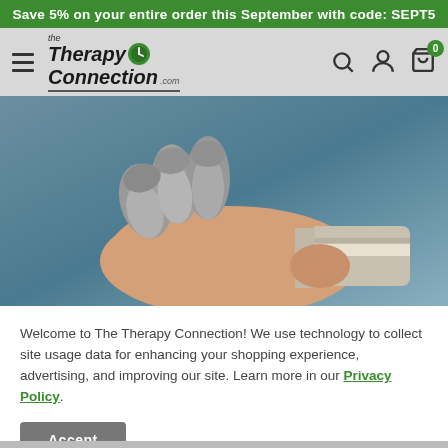Save 5% on your entire order this September with code: SEPT5
[Figure (logo): The Therapy Connection logo with green circle clock icon]
[Figure (photo): A hand wearing a therapeutic splint/brace with padded finger separators on a blue-grey background]
Welcome to The Therapy Connection! We use technology to collect site usage data for enhancing your shopping experience, advertising, and improving our site. Learn more in our Privacy Policy.
Accept